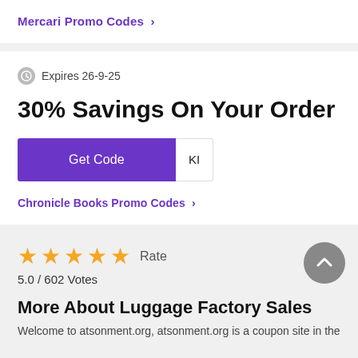Mercari Promo Codes >
Expires 26-9-25
30% Savings On Your Order
Get Code  KI
Chronicle Books Promo Codes >
★★★★★ Rate
5.0 / 602 Votes
More About Luggage Factory Sales
Welcome to atsonment.org, atsonment.org is a coupon site in the